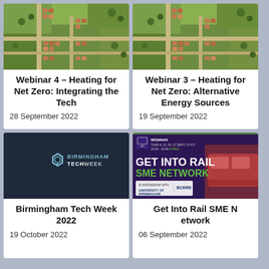[Figure (photo): Aerial view of residential area with roads and houses, green fields]
Webinar 4 – Heating for Net Zero: Integrating the Tech
28 September 2022
[Figure (photo): Aerial view of residential area with roads and houses, green fields]
Webinar 3 – Heating for Net Zero: Alternative Energy Sources
19 September 2022
[Figure (logo): Birmingham Tech Week logo on dark navy background]
Birmingham Tech Week 2022
19 October 2022
[Figure (infographic): Get Into Rail SME Network webinar banner with train image, purple/green background. WEBINAR TUES 6, 13, 20, 27 SEPT, 4 OCT 10:00-12:00 FREE. In partnership with University of Birmingham and BCRRE.]
Get Into Rail SME Network
06 September 2022